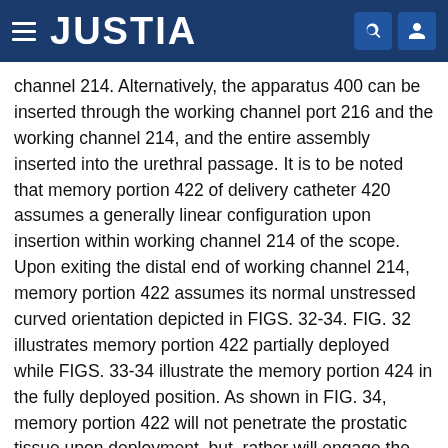JUSTIA
channel 214. Alternatively, the apparatus 400 can be inserted through the working channel port 216 and the working channel 214, and the entire assembly inserted into the urethral passage. It is to be noted that memory portion 422 of delivery catheter 420 assumes a generally linear configuration upon insertion within working channel 214 of the scope. Upon exiting the distal end of working channel 214, memory portion 422 assumes its normal unstressed curved orientation depicted in FIGS. 32-34. FIG. 32 illustrates memory portion 422 partially deployed while FIGS. 33-34 illustrate the memory portion 424 in the fully deployed position. As shown in FIG. 34, memory portion 422 will not penetrate the prostatic tissue upon deployment, but, rather will engage the inner wall of the urethra and bias the wall inwardly.
With reference now to FIG. 35-36, actuating portion 412